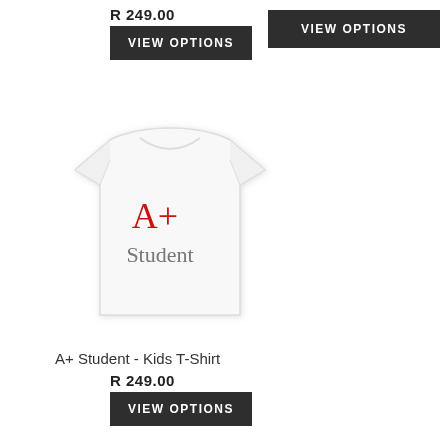R 249.00
VIEW OPTIONS
VIEW OPTIONS
[Figure (photo): White kids t-shirt with 'A+' written in red and 'Student' written in grey handwriting style text]
A+ Student - Kids T-Shirt
R 249.00
VIEW OPTIONS